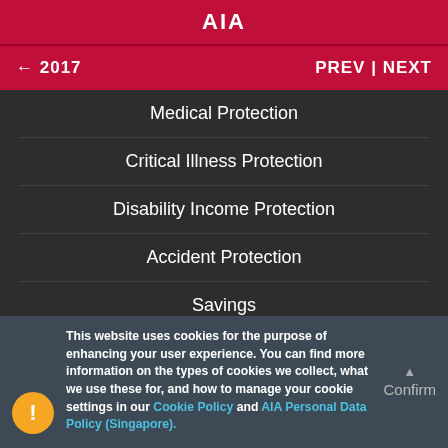AIA
← 2017   PREV | NEXT
Medical Protection
Critical Illness Protection
Disability Income Protection
Accident Protection
Savings
Investments
Platinum
This website uses cookies for the purpose of enhancing your user experience. You can find more information on the types of cookies we collect, what we use these for, and how to manage your cookie settings in our Cookie Policy and AIA Personal Data Policy (Singapore).